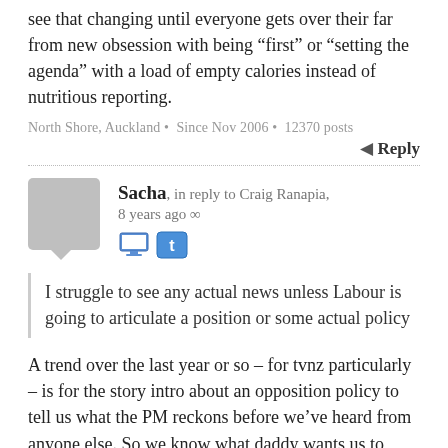see that changing until everyone gets over their far from new obsession with being “first” or “setting the agenda” with a load of empty calories instead of nutritious reporting.
North Shore, Auckland • Since Nov 2006 • 12370 posts
◄ Reply
Sacha, in reply to Craig Ranapia, 8 years ago ∞
I struggle to see any actual news unless Labour is going to articulate a position or some actual policy
A trend over the last year or so – for tvnz particularly – is for the story intro about an opposition policy to tell us what the PM reckons before we’ve heard from anyone else. So we know what daddy wants us to think, I guess. It’s authoritarianism rather than party bias as such.
It’s also deeply unprofessional and if media want legal protections and privileged access to continue